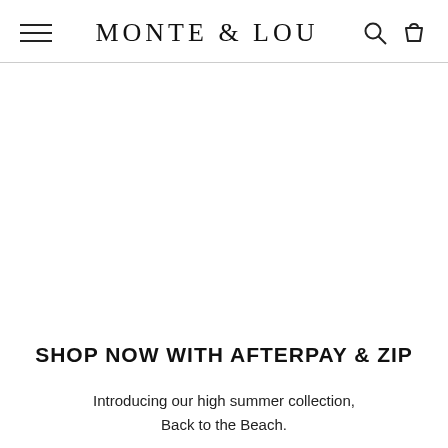MONTE & LOU
SHOP NOW WITH AFTERPAY & ZIP
Introducing our high summer collection, Back to the Beach.